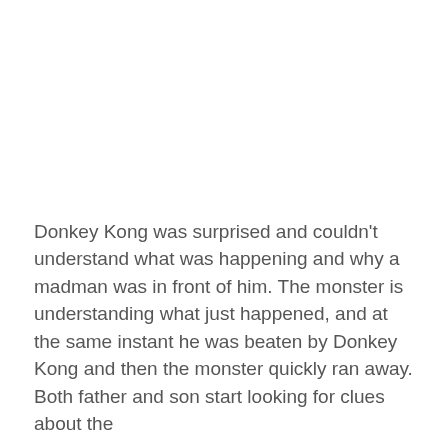Donkey Kong was surprised and couldn't understand what was happening and why a madman was in front of him. The monster is understanding what just happened, and at the same instant he was beaten by Donkey Kong and then the monster quickly ran away. Both father and son start looking for clues about the